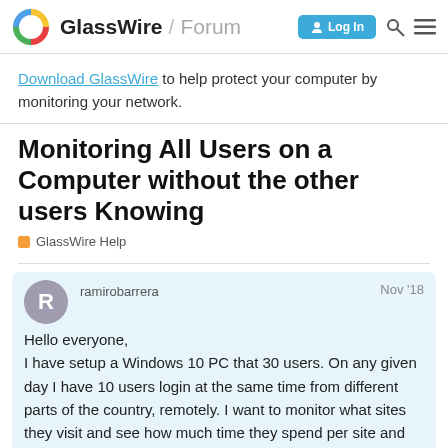GlassWire / Forum
Download GlassWire to help protect your computer by monitoring your network.
Monitoring All Users on a Computer without the other users Knowing
GlassWire Help
ramirobarrera  Nov '18

Hello everyone,
I have setup a Windows 10 PC that 30 users. On any given day I have 10 users login at the same time from different parts of the country, remotely. I want to monitor what sites they visit and see how much time they spend per site and also certain sites. How can I view whats being l
1 / 5